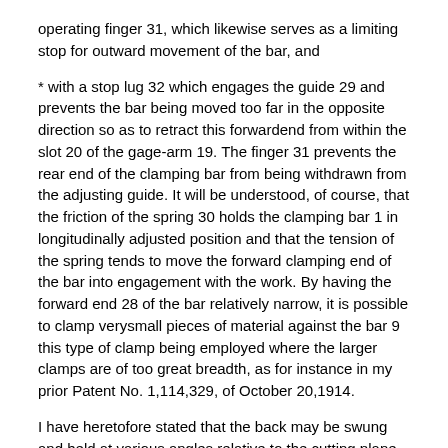operating finger 31, which likewise serves as a limiting stop for outward movement of the bar, and
* with a stop lug 32 which engages the guide 29 and prevents the bar being moved too far in the opposite direction so as to retract this forward end from within the slot 20 of the gage-arm 19. The finger 31 prevents the rear end of the clamping bar from being withdrawn from the adjusting guide. It will be understood, of course, that the friction of the spring 30 holds the clamping bar 1 in longitudinally adjusted position and that the tension of the spring tends to move the forward clamping end of the bar into engagement with the work. By having the forward end 28 of the bar relatively narrow, it is possible to clamp verysmall pieces of material against the bar 9 this type of clamp being employed where the larger clamps are of too great breadth, as for instance in my prior Patent No. 1,114,329, of October 20,1914.
I have heretofore stated that the back may be swung and held at various angles relative to the cutting plane and relative to the edge of the table 5 adjacent the cutter which table edge, in the present instance, is in parallel with the